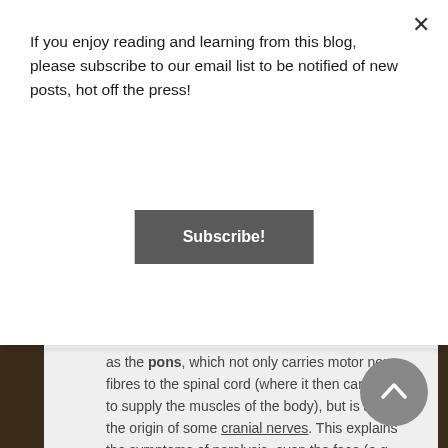If you enjoy reading and learning from this blog, please subscribe to our email list to be notified of new posts, hot off the press!
Subscribe!
as the pons, which not only carries motor nerve fibres to the spinal cord (where it then carries on to supply the muscles of the body), but is also the origin of some cranial nerves. This explains the symptoms of paralysis, even the face (e.g. damage to the facial nerve, or CN VII). More specifically, the damage only affects the pons and not the brain itself, meaning that cognition (thinking), intelligence, memory and sensation (if the fibres are spared in the brainstem) are completely functional.
This can be caused by trauma, stroke, drugs,